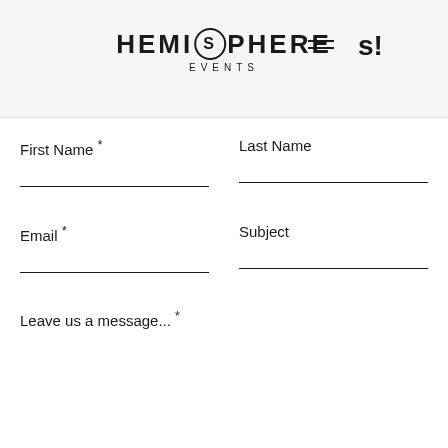HEMISPHERE EVENTS
First Name *
Last Name
Email *
Subject
Leave us a message... *
Submit